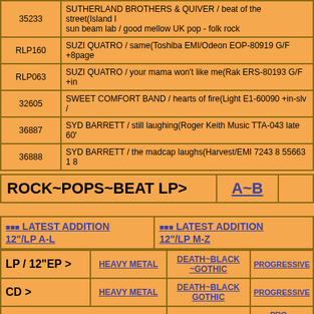| ID | Description |
| --- | --- |
| 35233 | SUTHERLAND BROTHERS & QUIVER / beat of the street(Island ... sun beam lab / good mellow UK pop - folk rock |
| RLP160 | SUZI QUATRO / same(Toshiba EMI/Odeon EOP-80919 G/F +8page... |
| RLP063 | SUZI QUATRO / your mama won't like me(Rak ERS-80193 G/F +in... |
| 32605 | SWEET COMFORT BAND / hearts of fire(Light E1-60090 +in-slv /... |
| 36887 | SYD BARRETT / still laughing(Roger Keith Music TTA-043 late 60'... |
| 36888 | SYD BARRETT / the madcap laughs(Harvest/EMI 7243 8 55663 1 8... |
| Section | Link |
| --- | --- |
| ROCK~POPS~BEAT LP> | A~B |
| Navigation |
| --- |
| 🔲🔲🔲 LATEST ADDITION 12"/LP A-L | 🔲🔲🔲 LATEST ADDITION 12"/LP M-Z |
| LP / 12"EP > | HEAVY METAL | DEATH~BLACK ~GOTHIC | PROGRESSIVE |
| CD > | HEAVY METAL | DEATH~BLACK GOTHIC | PROGRESSIVE | PS... BI... |
| 7" SINGLE > | HEAVE METAL |  | PRO... ROCK-... |